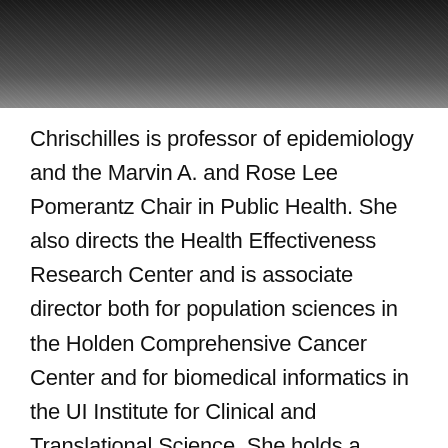[Figure (photo): Black and white partial photo of a person, cropped at top of page]
Chrischilles is professor of epidemiology and the Marvin A. and Rose Lee Pomerantz Chair in Public Health. She also directs the Health Effectiveness Research Center and is associate director both for population sciences in the Holden Comprehensive Cancer Center and for biomedical informatics in the UI Institute for Clinical and Translational Science. She holds a secondary appointment in the Department of Pharmacy Practice and Science in the UI College of Pharmacy.
She is nationally recognized for innovative